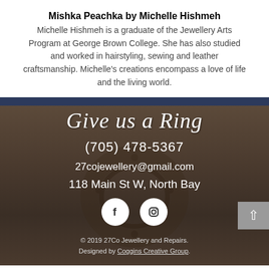Mishka Peachka by Michelle Hishmeh
Michelle Hishmeh is a graduate of the Jewellery Arts Program at George Brown College. She has also studied and worked in hairstyling, sewing and leather craftsmanship. Michelle's creations encompass a love of life and the living world.
[Figure (screenshot): Dark brownish banner image with a decorative ring in the background, containing contact info: 'Give us a Ring', phone (705) 478-5367, email 27cojewellery@gmail.com, address 118 Main St W, North Bay, Facebook and Instagram icons, footer with copyright 2019 27Co Jewellery and Repairs. Designed by Coggins Creative Group.]